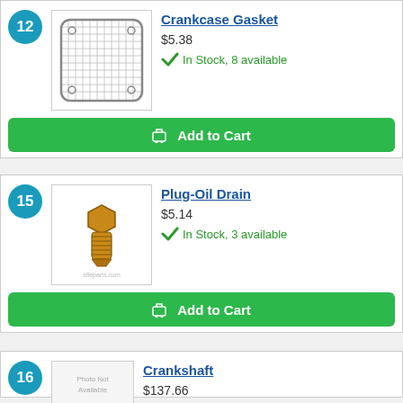12 – Crankcase Gasket, $5.38, In Stock, 8 available
[Figure (photo): Crankcase gasket product photo – rectangular gasket with grid pattern]
Crankcase Gasket
$5.38
In Stock, 8 available
Add to Cart
15 – Plug-Oil Drain, $5.14, In Stock, 3 available
[Figure (photo): Oil drain plug product photo – brass threaded plug]
Plug-Oil Drain
$5.14
In Stock, 3 available
Add to Cart
16 – Crankshaft, $137.66
[Figure (photo): Crankshaft – Photo Not Available placeholder]
Crankshaft
$137.66